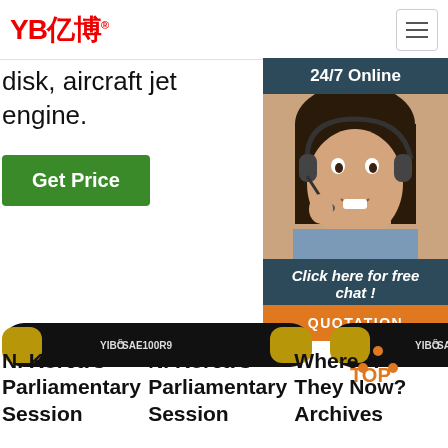[Figure (logo): YB亿博 logo in red with registered trademark symbol]
disk, aircraft jet engine.
Get Price
[Figure (infographic): 24/7 Online customer service widget with agent photo, 'Click here for free chat!' text, and QUOTATION orange button]
[Figure (photo): Two hydraulic hoses labeled YIBO SAE100R9 and YIBO SAE 100 R12]
N. Korea's Parliamentary Session
N. Korea's Parliamentary Session
Where Are They Now? Archives